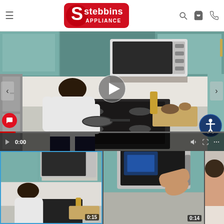[Figure (logo): Stebbins Appliance logo — red rounded rectangle with white S and 'stebbins APPLIANCE' text]
[Figure (screenshot): Main video player showing man cooking at a stove in a kitchen with microwave above, play button overlay, video controls showing 0:00 timestamp, navigation arrows, chat bubble icon, and accessibility icon]
[Figure (screenshot): Thumbnail 1: man cooking at stove in kitchen, timestamp 0:15]
[Figure (screenshot): Thumbnail 2: microwave/appliance close-up with hand, timestamp 0:14]
[Figure (screenshot): Thumbnail 3: woman (partially visible), no timestamp shown]